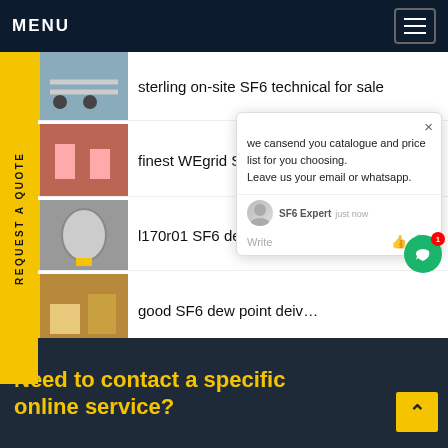MENU
sterling on-site SF6 technical for sale
finest WEgrid SF6 cart m... rs
l170r01 SF6 device free p...
good SF6 dew point deiv...
REQUEST A QUOTE
we cansend you catalogue and price list for you choosing. Leave us your email or whatsapp.
SF6 Expert  just now
Write
Need to contact a specific online service?